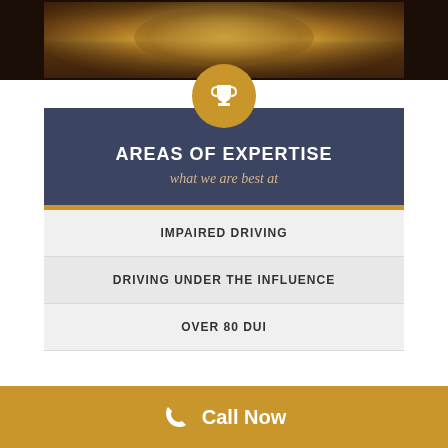[Figure (photo): Partial view of decorative gold/bronze ornate scales of justice or trophy with dark background]
AREAS OF EXPERTISE
what we are best at
IMPAIRED DRIVING
DRIVING UNDER THE INFLUENCE
OVER 80 DUI
Call Now